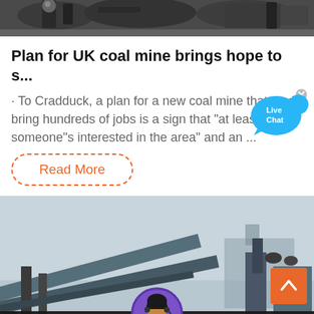[Figure (photo): Industrial machinery/coal mine equipment photo at top of page]
Plan for UK coal mine brings hope to s...
· To Cradduck, a plan for a new coal mine that could bring hundreds of jobs is a sign that "at least someone"s interested in the area" and an ...
Read More
[Figure (infographic): Live Chat speech bubble icon in blue with 'x' close button]
[Figure (photo): Industrial coal mine machinery/conveyor belts photo at bottom of page]
Leave Message
Chat Online